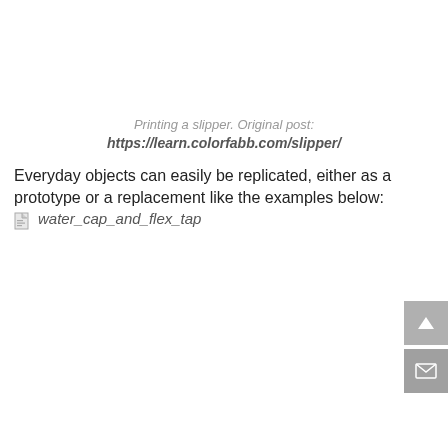Printing a slipper. Original post:
https://learn.colorfabb.com/slipper/
Everyday objects can easily be replicated, either as a prototype or a replacement like the examples below:
[Figure (photo): Broken image placeholder labelled water_cap_and_flex_tap]